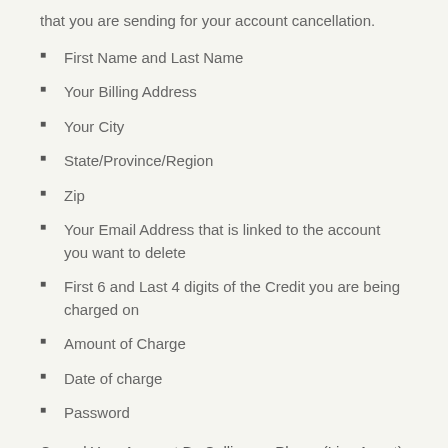that you are sending for your account cancellation.
First Name and Last Name
Your Billing Address
Your City
State/Province/Region
Zip
Your Email Address that is linked to the account you want to delete
First 6 and Last 4 digits of the Credit you are being charged on
Amount of Charge
Date of charge
Password
Cancel Your Account By Calling on Phone (Live Agent)
Follow these steps below: